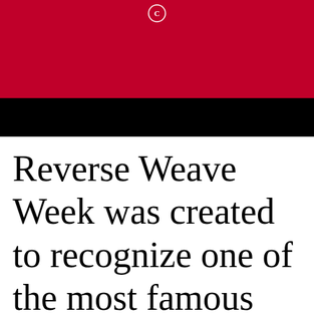[Figure (photo): Photo of a person wearing a red top with a small logo/emblem visible near the collar, with a black bar overlaid at the bottom of the image]
Reverse Weave Week was created to recognize one of the most famous fashion